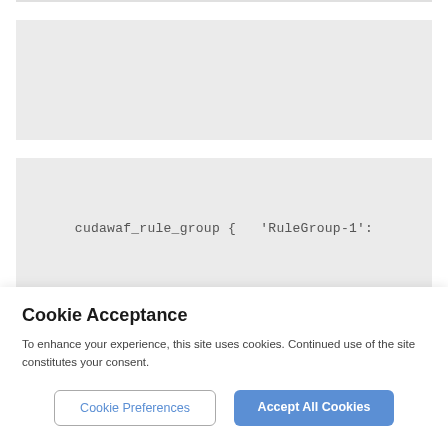[Figure (screenshot): Gray code block area (empty, no visible code text)]
[Figure (screenshot): Gray code block showing: cudawaf_rule_group {  'RuleGroup-1':]
[Figure (screenshot): Gray code block showing: ensure          => present,]
Cookie Acceptance
To enhance your experience, this site uses cookies. Continued use of the site constitutes your consent.
Cookie Preferences | Accept All Cookies